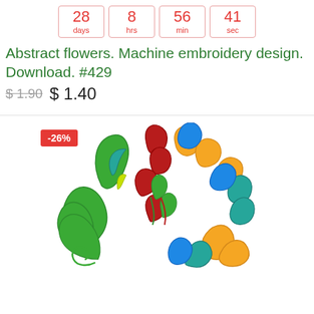28 days  8 hrs  56 min  41 sec
Abstract flowers. Machine embroidery design. Download. #429
$1.90  $ 1.40
[Figure (illustration): Machine embroidery design of abstract flowers with colorful teardrop/petal shapes in green, red, blue, orange, and teal, arranged in a circular decorative pattern. A red badge in the top-left corner reads -26%.]